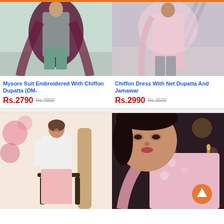[Figure (photo): Woman in embroidered mysore suit with burgundy chiffon dupatta and teal trousers]
Mysore Suit Embroidered With Chiffon Dupatta (DM-
Rs.2790  Rs.4800
[Figure (photo): Woman in chiffon dress with pink net dupatta and jamawar details]
Chiffon Dress With Net Dupatta And Jamawar
Rs.2990  Rs.3500
[Figure (photo): Young woman in white and pink floral suit seated on chair]
[Figure (photo): Woman in pink floral dress with dupatta, dark background, scroll-to-top button visible]